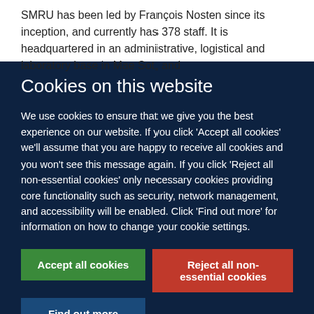SMRU has been led by François Nosten since its inception, and currently has 378 staff. It is headquartered in an administrative, logistical and laboratory base in Mae Sot, and
Cookies on this website
We use cookies to ensure that we give you the best experience on our website. If you click 'Accept all cookies' we'll assume that you are happy to receive all cookies and you won't see this message again. If you click 'Reject all non-essential cookies' only necessary cookies providing core functionality such as security, network management, and accessibility will be enabled. Click 'Find out more' for information on how to change your cookie settings.
Accept all cookies
Reject all non-essential cookies
Find out more